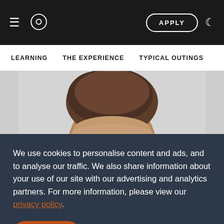O | APPLY
LEARNING   THE EXPERIENCE   TYPICAL OUTINGS
[Figure (photo): Close-up photo of a person's head with brown hair, cropped at forehead/eyes level, against a light grey background]
We use cookies to personalise content and ads, and to analyse our traffic. We also share information about your use of our site with our advertising and analytics partners. For more information, please view our privacy policy.
Accept